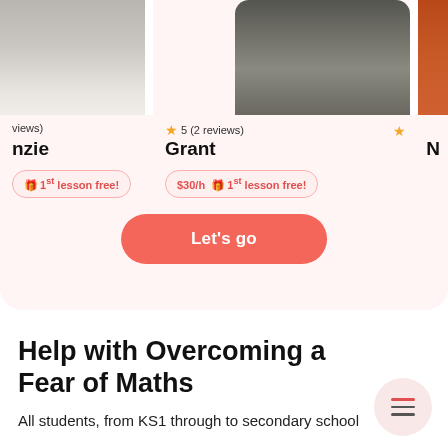[Figure (screenshot): Tutor profile cards row showing partial photos of three tutors on a pink background]
views)
nzie
1st lesson free!
★ 5 (2 reviews)
Grant
$30/h  🎁1st lesson free!
N
Let's go
Help with Overcoming a Fear of Maths
All students, from KS1 through to secondary school